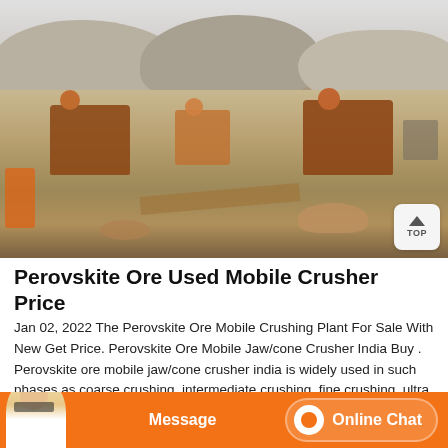[Figure (photo): Outdoor mining/quarry site with heavy crushing machinery, large rock/gravel piles and hills in background, timber planks and equipment scattered on ground]
Perovskite Ore Used Mobile Crusher Price
Jan 02, 2022 The Perovskite Ore Mobile Crushing Plant For Sale With New Get Price. Perovskite Ore Mobile Jaw/cone Crusher India Buy . Perovskite ore mobile jaw/cone crusher india is widely used in such phases as coarse crushing, intermediate crushing, fine crushing, ultra fine crushing and high fine crushing and the main categories include...